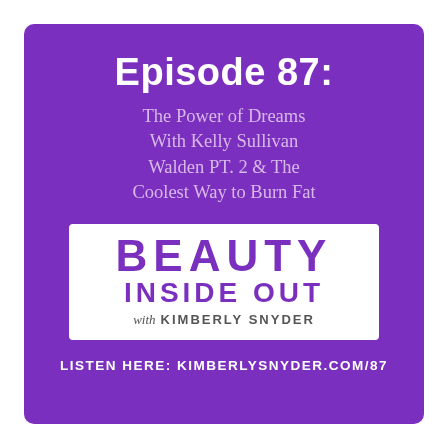Episode 87:
The Power of Dreams With Kelly Sullivan Walden PT. 2 & The Coolest Way to Burn Fat
[Figure (logo): Beauty Inside Out with Kimberly Snyder podcast logo — white rectangle with purple text reading BEAUTY in large bold letters, INSIDE OUT below it, and 'with KIMBERLY SNYDER' in smaller text underneath]
LISTEN HERE: KIMBERLYSNYDER.COM/87